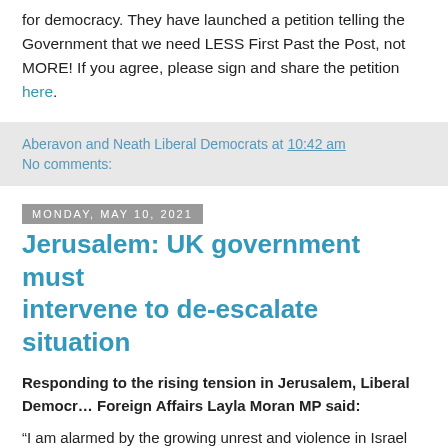for democracy. They have launched a petition telling the Government that we need LESS First Past the Post, not MORE! If you agree, please sign and share the petition here.
Aberavon and Neath Liberal Democrats at 10:42 am
No comments:
Monday, May 10, 2021
Jerusalem: UK government must intervene to de-escalate situation
Responding to the rising tension in Jerusalem, Liberal Democrats Foreign Affairs Layla Moran MP said:
“I am alarmed by the growing unrest and violence in Israel and Pale…
“First and foremost, we need to recognise that Israel has broken inte… evictions in Sheikh Jarrah and ignited a tinderbox.